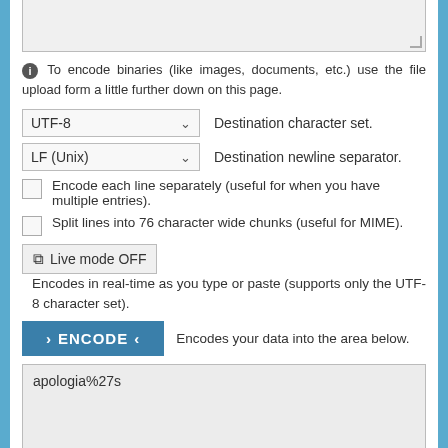[Figure (screenshot): Top textarea stub (cropped)]
To encode binaries (like images, documents, etc.) use the file upload form a little further down on this page.
UTF-8  Destination character set.
LF (Unix)  Destination newline separator.
Encode each line separately (useful for when you have multiple entries).
Split lines into 76 character wide chunks (useful for MIME).
Live mode OFF  Encodes in real-time as you type or paste (supports only the UTF-8 character set).
> ENCODE <  Encodes your data into the area below.
apologia%27s